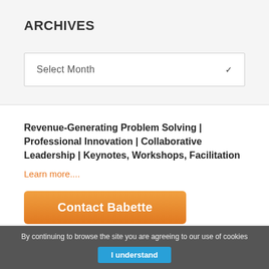ARCHIVES
Select Month
Revenue-Generating Problem Solving | Professional Innovation | Collaborative Leadership | Keynotes, Workshops, Facilitation
Learn more....
Contact Babette
By continuing to browse the site you are agreeing to our use of cookies
I understand